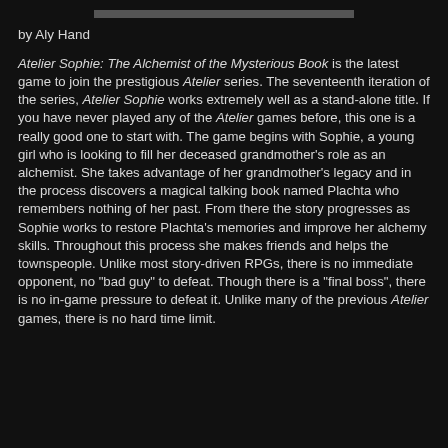by Aly Hand
Atelier Sophie: The Alchemist of the Mysterious Book is the latest game to join the prestigious Atelier series. The seventeenth iteration of the series, Atelier Sophie works extremely well as a stand-alone title. If you have never played any of the Atelier games before, this one is a really good one to start with. The game begins with Sophie, a young girl who is looking to fill her deceased grandmother's role as an alchemist. She takes advantage of her grandmother's legacy and in the process discovers a magical talking book named Plachta who remembers nothing of her past. From there the story progresses as Sophie works to restore Plachta's memories and improve her alchemy skills. Throughout this process she makes friends and helps the townspeople. Unlike most story-driven RPGs, there is no immediate opponent, no "bad guy" to defeat. Though there is a "final boss", there is no in-game pressure to defeat it. Unlike many of the previous Atelier games, there is no hard time limit.